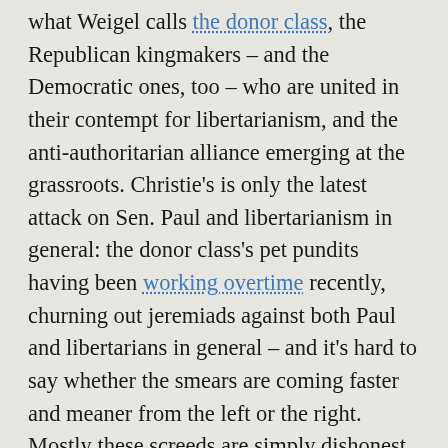what Weigel calls the donor class, the Republican kingmakers – and the Democratic ones, too – who are united in their contempt for libertarianism, and the anti-authoritarian alliance emerging at the grassroots. Christie's is only the latest attack on Sen. Paul and libertarianism in general: the donor class's pet pundits having been working overtime recently, churning out jeremiads against both Paul and libertarians in general – and it's hard to say whether the smears are coming faster and meaner from the left or the right. Mostly these screeds are simply dishonest, like Michael Lind's latest, which pretends to debunk the concept of "libertarian populism" without reference either to the NSA brouhaha or the vital issue of war and peace – two linked questions which have catapulted the libertarian movement into the very center of the national discourse.